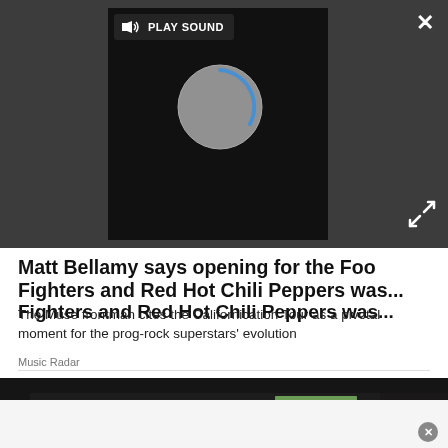[Figure (screenshot): Video player overlay on dark grey background showing a loading spinner and PLAY SOUND button, with a white X close button in top right and expand arrows in bottom right]
Matt Bellamy says opening for the Foo Fighters and Red Hot Chili Peppers was...
The Muse frontman cites the Californication Tour as a pivotal moment for the prog-rock superstars' evolution
Music Radar
[Figure (photo): Photo of stacks of US dollar bills arranged on a dark surface, increasing in height from left to right]